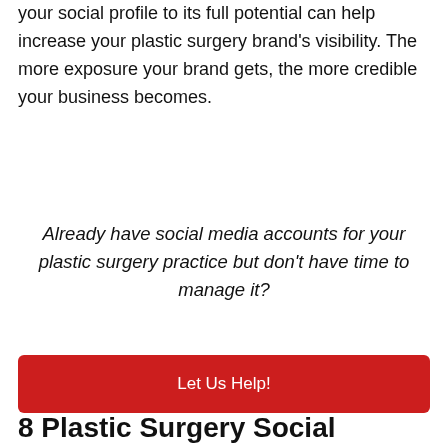your social profile to its full potential can help increase your plastic surgery brand's visibility. The more exposure your brand gets, the more credible your business becomes.
Already have social media accounts for your plastic surgery practice but don't have time to manage it?
Let Us Help!
8 Plastic Surgery Social